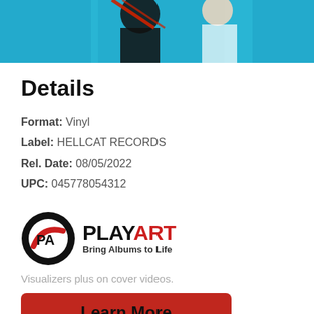[Figure (photo): Top portion of an album cover image showing figures against a teal/cyan background with black and red elements]
Details
Format: Vinyl
Label: HELLCAT RECORDS
Rel. Date: 08/05/2022
UPC: 045778054312
[Figure (logo): PlayArt logo — circular PA icon with red swoosh, followed by PLAYART text in black and red, with tagline Bring Albums to Life]
Visualizers plus on cover videos.
Learn More